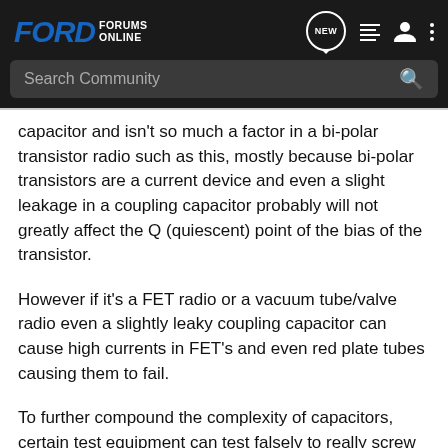FORD FORUMS ONLINE — Search Community
capacitor and isn't so much a factor in a bi-polar transistor radio such as this, mostly because bi-polar transistors are a current device and even a slight leakage in a coupling capacitor probably will not greatly affect the Q (quiescent) point of the bias of the transistor.
However if it's a FET radio or a vacuum tube/valve radio even a slightly leaky coupling capacitor can cause high currents in FET's and even red plate tubes causing them to fail.
To further compound the complexity of capacitors, certain test equipment can test falsely to really screw with you. I'll demonstrate this and why it's just best to replace nearly all old electrolytic capacitors when in doubt.